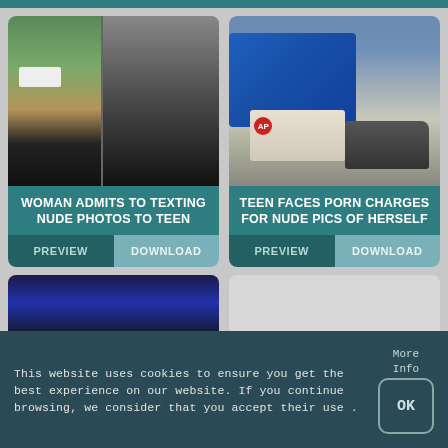[Figure (screenshot): Top teal/blue bar at the top of the page]
[Figure (screenshot): Left card: video still showing a train or vehicle interior with outdoor green field scene, dark window frame]
WOMAN ADMITS TO TEXTING NUDE PHOTOS TO TEEN
PREVIEW
DOWNLOAD
[Figure (photo): Right card: photo of blue bag and sneakers on ground, AP logo visible]
TEEN FACES PORN CHARGES FOR NUDE PICS OF HERSELF
PREVIEW
DOWNLOAD
[Figure (screenshot): Bottom left card: dark blue TV studio screenshot partially visible]
[Figure (screenshot): Bottom right card: gray placeholder card]
This website uses cookies to ensure you get the best experience on our website. If you continue browsing, we consider that you accept their use .
More Info
OK